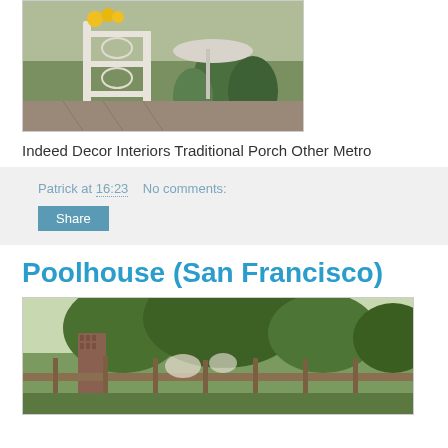[Figure (photo): Outdoor porch/patio with white wrought iron furniture, yellow flowers, and lush green plants]
Indeed Decor Interiors Traditional Porch Other Metro
Patrick at 16:23    No comments:
Share
Poolhouse (San Francisco)
[Figure (photo): Exterior view of a poolhouse with brick chimney, wooden pergola/fence, and lush green trees]